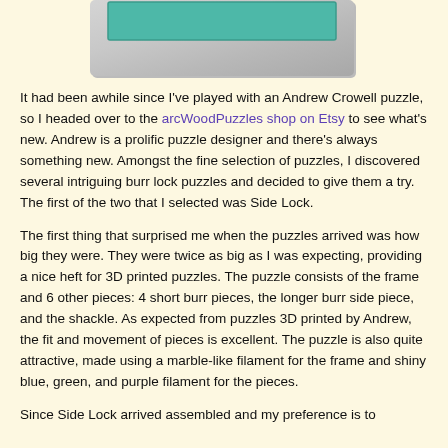[Figure (photo): Top portion of a 3D printed puzzle box/frame with teal green top visible, gray marble-like frame, shown at slight angle]
It had been awhile since I've played with an Andrew Crowell puzzle, so I headed over to the arcWoodPuzzles shop on Etsy to see what's new.  Andrew is a prolific puzzle designer and there's always something new.  Amongst the fine selection of puzzles, I discovered several intriguing burr lock puzzles and decided to give them a try.  The first of the two that I selected was Side Lock.
The first thing that surprised me when the puzzles arrived was how big they were.  They were twice as big as I was expecting, providing a nice heft for 3D printed puzzles.  The puzzle consists of the frame and 6 other pieces: 4 short burr pieces, the longer burr side piece, and the shackle.  As expected from puzzles 3D printed by Andrew, the fit and movement of pieces is excellent.  The puzzle is also quite attractive, made using a marble-like filament for the frame and shiny blue, green, and purple filament for the pieces.
Since Side Lock arrived assembled and my preference is to